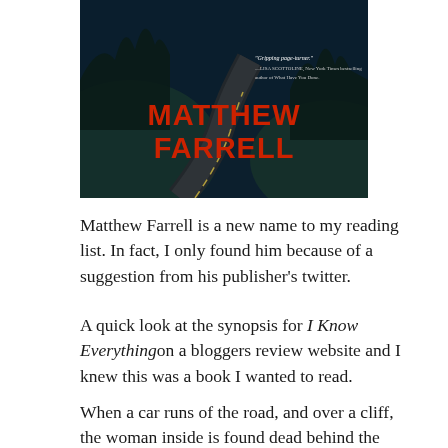[Figure (illustration): Book cover for a novel by Matthew Farrell. Dark, moody cover showing a winding road on a cliff at night. Red bold text reads 'MATTHEW FARRELL'. A blurb reads: 'Gripping page-turner.' —LISA SCOTTOLINE, New York Times bestselling author of What Have You Done.]
Matthew Farrell is a new name to my reading list. In fact, I only found him because of a suggestion from his publisher's twitter.
A quick look at the synopsis for I Know Everything on a bloggers review website and I knew this was a book I wanted to read.
When a car runs of the road, and over a cliff, the woman inside is found dead behind the